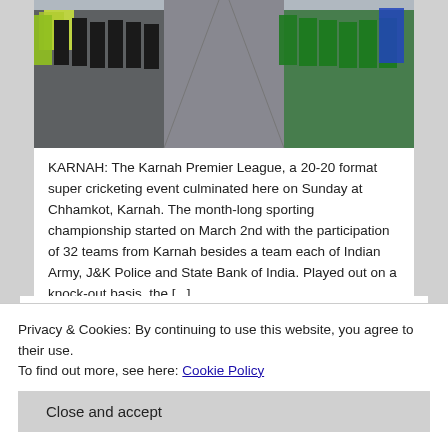[Figure (photo): Rows of people in sports uniforms (yellow/green and black/green) standing in lines forming a corridor, viewed from above/end-on.]
KARNAH: The Karnah Premier League, a 20-20 format super cricketing event culminated here on Sunday at Chhamkot, Karnah. The month-long sporting championship started on March 2nd with the participation of 32 teams from Karnah besides a team each of Indian Army, J&K Police and State Bank of India. Played out on a knock-out basis, the [...]
1  2  3  Next »
Privacy & Cookies: By continuing to use this website, you agree to their use.
To find out more, see here: Cookie Policy
Close and accept